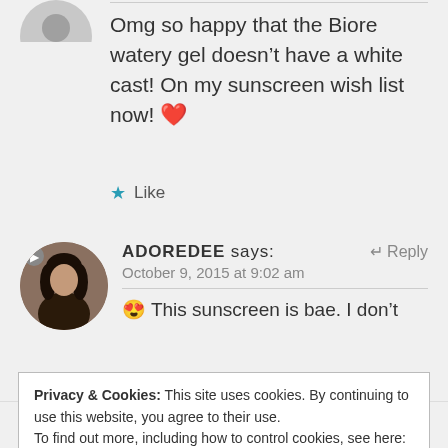[Figure (illustration): Partial circular grey avatar icon at top left]
Omg so happy that the Biore watery gel doesn't have a white cast! On my sunscreen wish list now! ❤️
★ Like
[Figure (photo): Circular profile photo of ADOREDEE commenter]
ADOREDEE says: ↩ Reply
October 9, 2015 at 9:02 am
😍 This sunscreen is bae. I don't
Privacy & Cookies: This site uses cookies. By continuing to use this website, you agree to their use.
To find out more, including how to control cookies, see here: Our Cookie Policy
Close and accept
FIDDY SNAILS